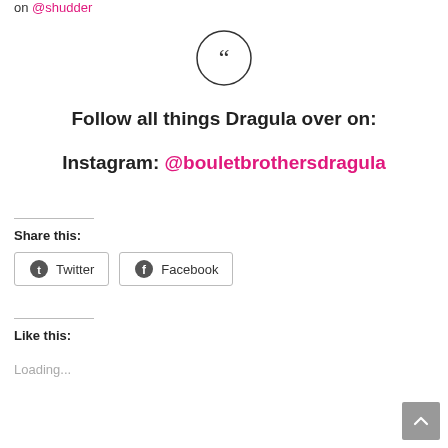on @shudder
[Figure (illustration): Circular quotation mark icon — double closing quotation marks inside a hand-drawn circle]
Follow all things Dragula over on:
Instagram: @bouletbrothersdragula
Share this:
Twitter   Facebook
Like this:
Loading...